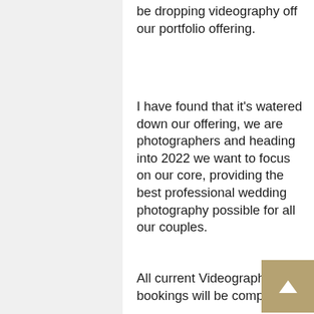be dropping videography off our portfolio offering.
I have found that it’s watered down our offering, we are photographers and heading into 2022 we want to focus on our core, providing the best professional wedding photography possible for all our couples.
All current Videography bookings will be completed